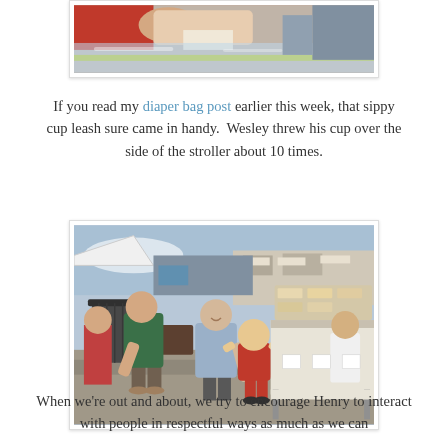[Figure (photo): Close-up photo of a baby or toddler in a stroller, with a red shirt visible and a plastic stroller cover/basket at the bottom, with a yellow-green rim.]
If you read my diaper bag post earlier this week, that sippy cup leash sure came in handy.  Wesley threw his cup over the side of the stroller about 10 times.
[Figure (photo): Outdoor photo at what appears to be a farmer's market or street fair. A man in a green shirt is bending over near a trash can on the left, an older man in a light blue shirt is in the center smiling and interacting with a small child in a red shirt and red shorts, and another person is standing at a table with baked goods on the right.]
When we’re out and about, we try to encourage Henry to interact with people in respectful ways as much as we can